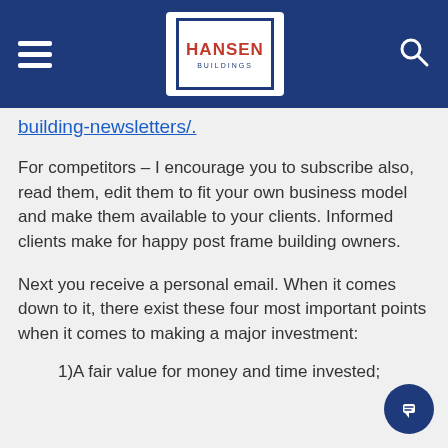Hansen Buildings
building-newsletters/.
For competitors – I encourage you to subscribe also, read them, edit them to fit your own business model and make them available to your clients. Informed clients make for happy post frame building owners.
Next you receive a personal email. When it comes down to it, there exist these four most important points when it comes to making a major investment:
1)A fair value for money and time invested;